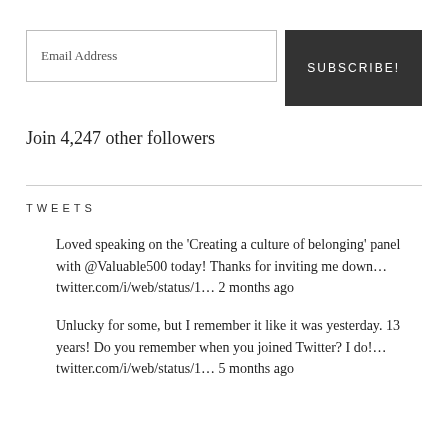Email Address
SUBSCRIBE!
Join 4,247 other followers
TWEETS
Loved speaking on the 'Creating a culture of belonging' panel with @Valuable500 today! Thanks for inviting me down… twitter.com/i/web/status/1… 2 months ago
Unlucky for some, but I remember it like it was yesterday. 13 years! Do you remember when you joined Twitter? I do!… twitter.com/i/web/status/1… 5 months ago